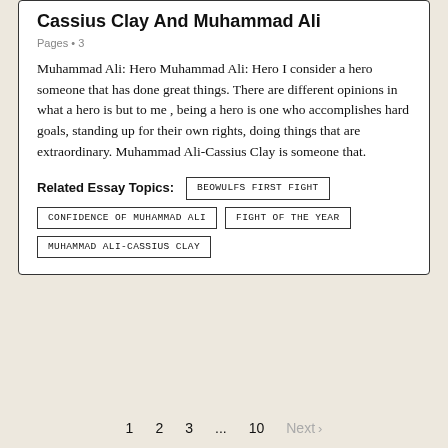Cassius Clay And Muhammad Ali
Pages • 3
Muhammad Ali: Hero Muhammad Ali: Hero I consider a hero someone that has done great things. There are different opinions in what a hero is but to me , being a hero is one who accomplishes hard goals, standing up for their own rights, doing things that are extraordinary. Muhammad Ali-Cassius Clay is someone that.
Related Essay Topics: BEOWULFS FIRST FIGHT
CONFIDENCE OF MUHAMMAD ALI
FIGHT OF THE YEAR
MUHAMMAD ALI-CASSIUS CLAY
1  2  3  ...  10  Next >